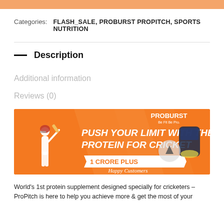Categories: FLASH_SALE, PROBURST PROPITCH, SPORTS NUTRITION
Description
Additional information
Reviews (0)
[Figure (illustration): Proburst ProPitch promotional banner with orange background, cricket batsman, text 'PUSH YOUR LIMIT WITH THE PROTEIN FOR CRICKET', '1 CRORE PLUS Happy Customers' ribbon, and product container with PROBURST logo]
World's 1st protein supplement designed specially for cricketers – ProPitch is here to help you achieve more & get the most of your